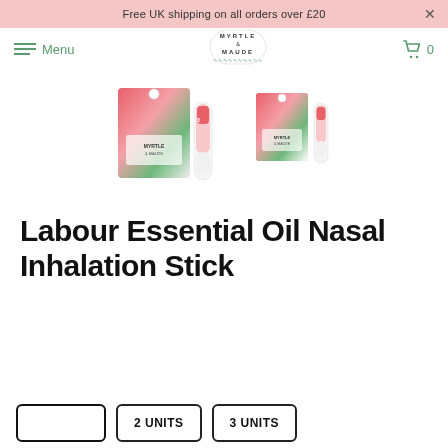Free UK shipping on all orders over £20
[Figure (logo): Myrtle & Maude brand logo with decorative border]
[Figure (photo): Labour Essential Oil Nasal Inhalation Stick product images showing packaging and stick inhaler, two views]
Labour Essential Oil Nasal Inhalation Stick
2 UNITS  3 UNITS